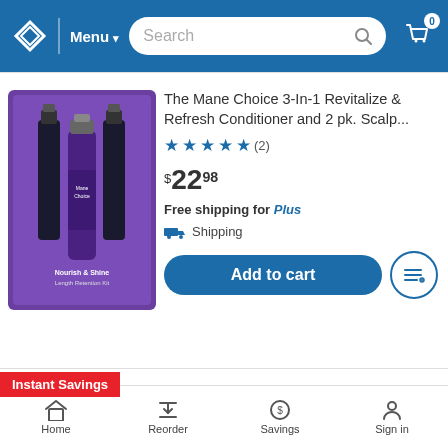Menu | Search | Cart 0
[Figure (photo): The Mane Choice Nourish & Shine Length Retention Kit product photo with purple background and three bottles]
The Mane Choice 3-In-1 Revitalize & Refresh Conditioner and 2 pk. Scalp...
★★★★★ (2)
$22.98
Free shipping for Plus
Shipping
Add to cart
Instant Savings
[Figure (photo): Aussie 3 Minute Miracle purple bottle product photo]
Aussie Paraben-Free Miracle Moist 3 Minute Miracle w/ Avocado for Dry Hai...
★★★★☆ (152)
$2 off with Instant Savings
Home | Reorder | Savings | Sign in